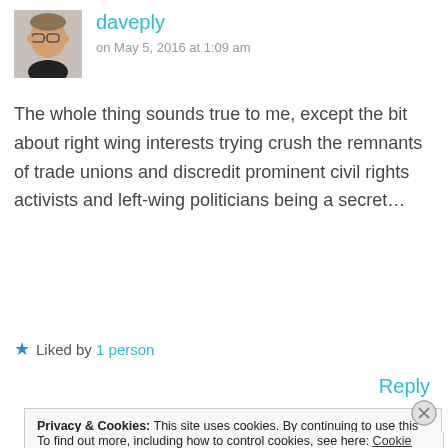[Figure (photo): Avatar photo of user daveply — man with glasses and dark shirt]
daveply
on May 5, 2016 at 1:09 am
The whole thing sounds true to me, except the bit about right wing interests trying crush the remnants of trade unions and discredit prominent civil rights activists and left-wing politicians being a secret…
★ Liked by 1 person
Reply
Privacy & Cookies: This site uses cookies. By continuing to use this website, you agree to their use. To find out more, including how to control cookies, see here: Cookie Policy
Close and accept